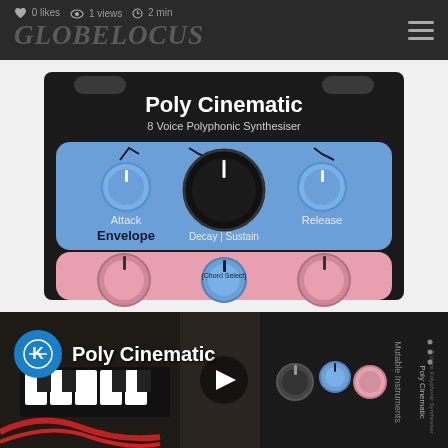0 likes  1 views  2 min
GLOBELOCUS
[Figure (photo): Photo of the Poly Cinematic 8 Voice Polyphonic Synthesiser eurorack module showing the front panel with Attack, Envelope, Decay/Sustain, Release knobs in blue and pink color scheme on a dark background]
[Figure (screenshot): Video thumbnail showing hands operating a eurorack modular synthesizer with Poly Cinematic module visible on the right, with play button overlay and channel icon. Title reads 'Poly Cinematic']